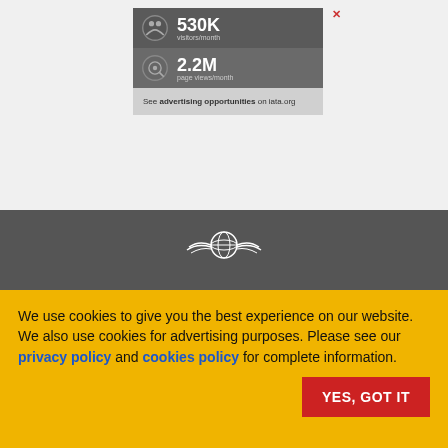[Figure (infographic): Advertisement banner showing 530K visitors/month and 2.2M page views/month with a globe/people icons, with close X button, on light gray background]
[Figure (logo): IATA winged globe logo in white on dark gray background]
We use cookies to give you the best experience on our website. We also use cookies for advertising purposes. Please see our privacy policy and cookies policy for complete information.
YES, GOT IT